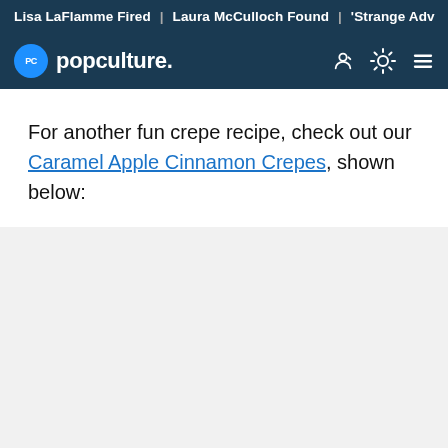Lisa LaFlamme Fired | Laura McCulloch Found | 'Strange Adv
PC popculture.
For another fun crepe recipe, check out our Caramel Apple Cinnamon Crepes, shown below: